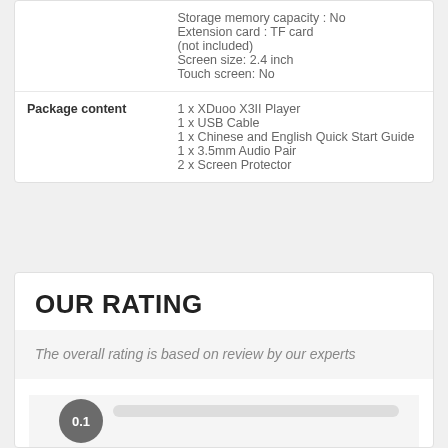|  |  |
| --- | --- |
|  | Storage memory capacity : No
Extension card : TF card (not included)
Screen size: 2.4 inch
Touch screen: No |
| Package content | 1 x XDuoo X3II Player
1 x USB Cable
1 x Chinese and English Quick Start Guide
1 x 3.5mm Audio Pair
2 x Screen Protector |
OUR RATING
The overall rating is based on review by our experts